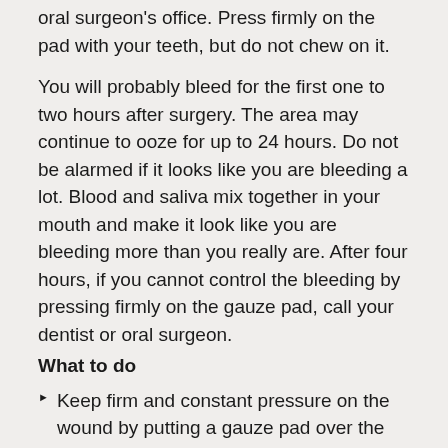oral surgeon's office. Press firmly on the pad with your teeth, but do not chew on it.
You will probably bleed for the first one to two hours after surgery. The area may continue to ooze for up to 24 hours. Do not be alarmed if it looks like you are bleeding a lot. Blood and saliva mix together in your mouth and make it look like you are bleeding more than you really are. After four hours, if you cannot control the bleeding by pressing firmly on the gauze pad, call your dentist or oral surgeon.
What to do
Keep firm and constant pressure on the wound by putting a gauze pad over the area, and by closing your teeth firmly on the pad. Leave the pad in place for an hour, no matter how soggy it becomes.